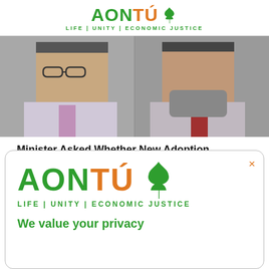AONTÚ — LIFE | UNITY | ECONOMIC JUSTICE
[Figure (photo): Two men in suits, a split photo showing two different politicians side by side]
Minister Asked Whether New Adoption Legislation is Being Outsourced from the Department and Why?
[Figure (logo): Aontú cookie consent popup with logo showing AONTÚ tree symbol, tagline LIFE | UNITY | ECONOMIC JUSTICE, and partial text We value your privacy]